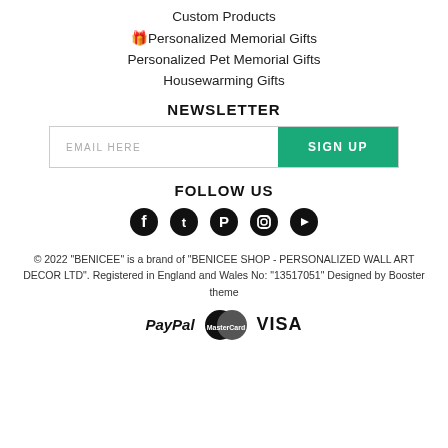Custom Products
🎁Personalized Memorial Gifts
Personalized Pet Memorial Gifts
Housewarming Gifts
NEWSLETTER
EMAIL HERE  SIGN UP
FOLLOW US
[Figure (infographic): Social media icons: Facebook, Twitter, Pinterest, Instagram, YouTube]
© 2022 "BENICEE" is a brand of "BENICEE SHOP - PERSONALIZED WALL ART DECOR LTD". Registered in England and Wales No: "13517051" Designed by Booster theme
[Figure (logo): PayPal, MasterCard, and VISA payment logos]